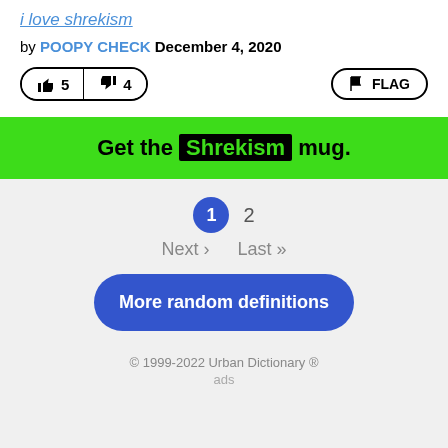i love shrekism
by POOPY CHECK December 4, 2020
👍 5  👎 4  FLAG
Get the Shrekism mug.
1  2
Next ›  Last »
More random definitions
© 1999-2022 Urban Dictionary ®
ads